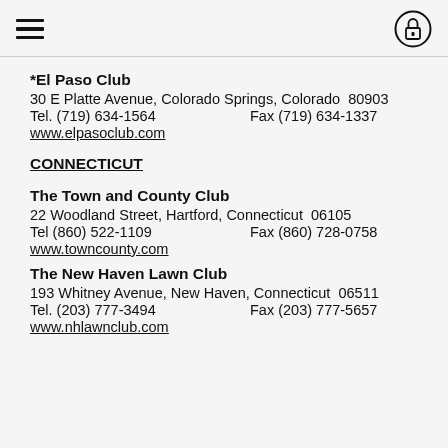[hamburger menu] [lock icon]
*El Paso Club
30 E Platte Avenue, Colorado Springs, Colorado  80903
Tel. (719) 634-1564    Fax (719) 634-1337
www.elpasoclub.com
CONNECTICUT
The Town and County Club
22 Woodland Street, Hartford, Connecticut  06105
Tel (860) 522-1109    Fax (860) 728-0758
www.towncounty.com
The New Haven Lawn Club
193 Whitney Avenue, New Haven, Connecticut  06511
Tel. (203) 777-3494    Fax (203) 777-5657
www.nhlawnclub.com